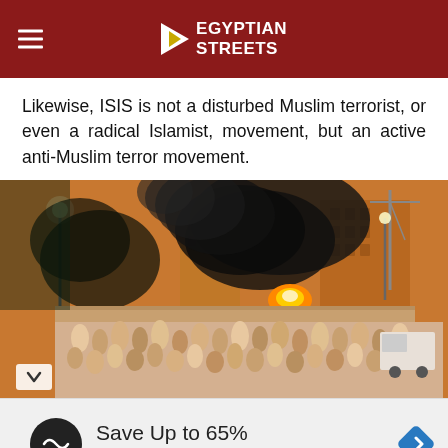Egyptian Streets
Likewise, ISIS is not a disturbed Muslim terrorist, or even a radical Islamist, movement, but an active anti-Muslim terror movement.
[Figure (photo): Crowd of people gathered outdoors near a building, with large black smoke plume and fire visible in the background at night/dusk.]
Save Up to 65% Leesburg Premium Outlets